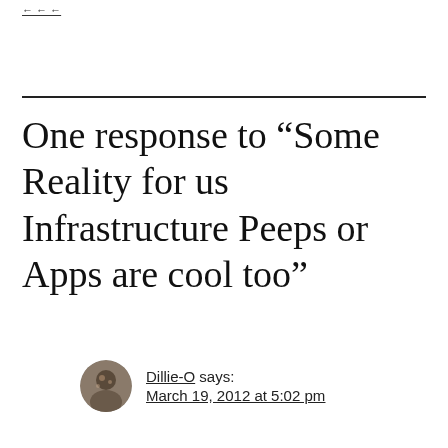← ← ←
One response to “Some Reality for us Infrastructure Peeps or Apps are cool too”
Dillie-O says: March 19, 2012 at 5:02 pm